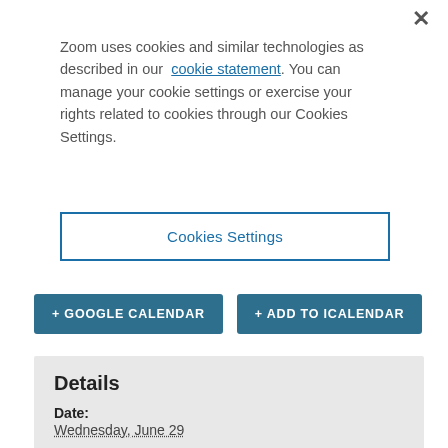×
Zoom uses cookies and similar technologies as described in our cookie statement. You can manage your cookie settings or exercise your rights related to cookies through our Cookies Settings.
Cookies Settings
+ GOOGLE CALENDAR
+ ADD TO ICALENDAR
Details
Date:
Wednesday, June 29
Time:
7:00 pm - 8:00 pm
Event Categories:
Virtual Programming, Women of Beth Israel